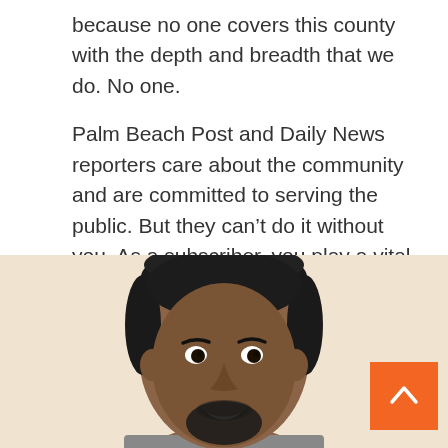because no one covers this county with the depth and breadth that we do. No one.

Palm Beach Post and Daily News reporters care about the community and are committed to serving the public. But they can't do it without you. As a subscriber, you play a vital role in supporting local journalism.
[Figure (photo): Headshot of a smiling Black man with short hair and a goatee, photographed against a light cream/beige background. The photo is cropped from shoulders up, showing the lower half of the face and the full head.]